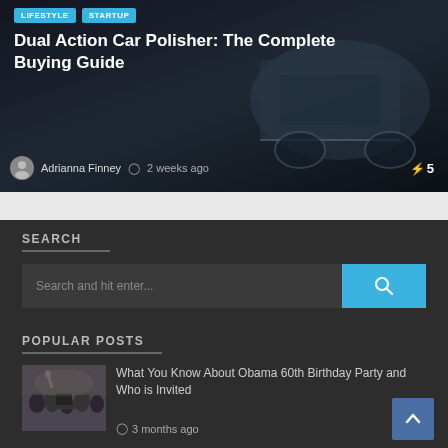[Figure (photo): Dark automotive background with car detail visible, showing article card for 'Dual Action Car Polisher' with LIFESTYLE and STARTUP tags, author Adrianna Finney, 2 weeks ago, and view count 5]
Dual Action Car Polisher: The Complete Buying Guide
Adrianna Finney  2 weeks ago  ⚡5
SEARCH
Search and hit enter...
POPULAR POSTS
[Figure (photo): Thumbnail photo showing Obama and crowd at birthday party event]
What You Know About Obama 60th Birthday Party and Who is Invited
3 months ago